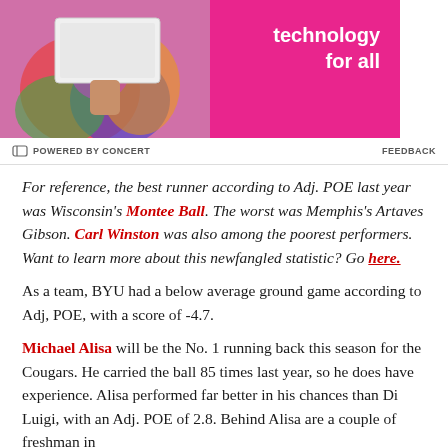[Figure (photo): Advertisement banner: Lenovo 'technology for all' ad with a person holding a laptop, pink background with white Lenovo branding on the right side]
POWERED BY CONCERT    FEEDBACK
For reference, the best runner according to Adj. POE last year was Wisconsin's Montee Ball. The worst was Memphis's Artaves Gibson. Carl Winston was also among the poorest performers. Want to learn more about this newfangled statistic? Go here.
As a team, BYU had a below average ground game according to Adj, POE, with a score of -4.7.
Michael Alisa will be the No. 1 running back this season for the Cougars. He carried the ball 85 times last year, so he does have experience. Alisa performed far better in his chances than Di Luigi, with an Adj. POE of 2.8. Behind Alisa are a couple of freshman in